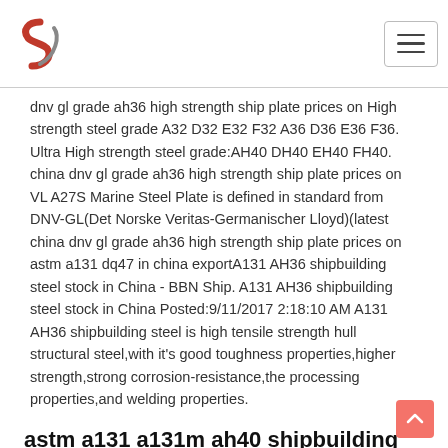[Logo] [Navigation menu icon]
dnv gl grade ah36 high strength ship plate prices on High strength steel grade A32 D32 E32 F32 A36 D36 E36 F36. Ultra High strength steel grade:AH40 DH40 EH40 FH40. china dnv gl grade ah36 high strength ship plate prices on VL A27S Marine Steel Plate is defined in standard from DNV-GL(Det Norske Veritas-Germanischer Lloyd)(latest china dnv gl grade ah36 high strength ship plate prices on astm a131 dq47 in china exportA131 AH36 shipbuilding steel stock in China - BBN Ship. A131 AH36 shipbuilding steel stock in China Posted:9/11/2017 2:18:10 AM A131 AH36 shipbuilding steel is high tensile strength hull structural steel,with it's good toughness properties,higher strength,strong corrosion-resistance,the processing properties,and welding properties.
astm a131 a131m ah40 shipbuilding steel - Boiler Alloy Steel
The RINA B grade steel plates have yield strength of 34,100 psi